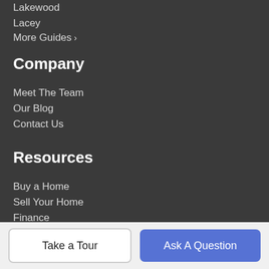Lakewood
Lacey
More Guides >
Company
Meet The Team
Our Blog
Contact Us
Resources
Buy a Home
Sell Your Home
Finance
Get Social
Take a Tour
Ask A Question